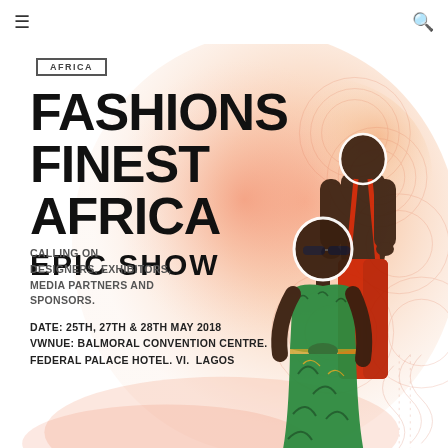≡  [navigation]  🔍
AFRICA
FASHIONS FINEST AFRICA
EPIC SHOW
[Figure (photo): Two fashion models: a woman in a colorful tropical print two-piece outfit with sunglasses, and a man shirtless in red pants and red suspenders, set against a watercolor background of pink/orange Africa-map splash]
CALLING ON DESIGNERS, EXHIBITORS, MEDIA PARTNERS AND SPONSORS.
DATE: 25TH, 27TH & 28TH MAY 2018
VWNUE: BALMORAL CONVENTION CENTRE. FEDERAL PALACE HOTEL. VI.  LAGOS